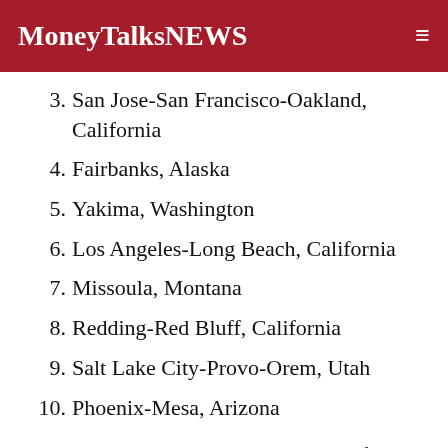MoneyTalksNews
3. San Jose-San Francisco-Oakland, California
4. Fairbanks, Alaska
5. Yakima, Washington
6. Los Angeles-Long Beach, California
7. Missoula, Montana
8. Redding-Red Bluff, California
9. Salt Lake City-Provo-Orem, Utah
10. Phoenix-Mesa, Arizona
The American Lung Association report found that overall, nearly half of the U.S. population — 150 million people — are living with and breathing unhealthy air.